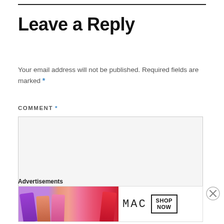Leave a Reply
Your email address will not be published. Required fields are marked *
COMMENT *
[Figure (screenshot): Empty comment textarea input box with light gray background]
Advertisements
[Figure (photo): MAC cosmetics advertisement banner showing colorful lipsticks on the left and MAC logo with SHOP NOW button on the right]